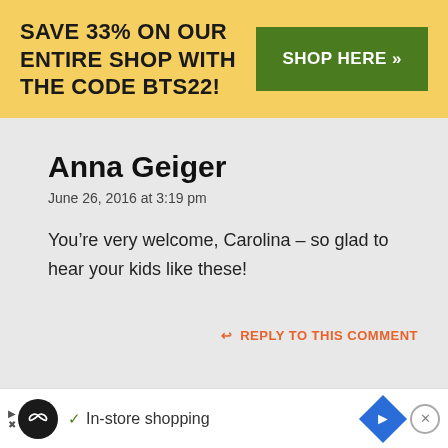SAVE 33% ON OUR ENTIRE SHOP WITH THE CODE BTS22!
SHOP HERE >>
Anna Geiger
June 26, 2016 at 3:19 pm
You’re very welcome, Carolina – so glad to hear your kids like these!
↩ REPLY TO THIS COMMENT
✓ In-store shopping